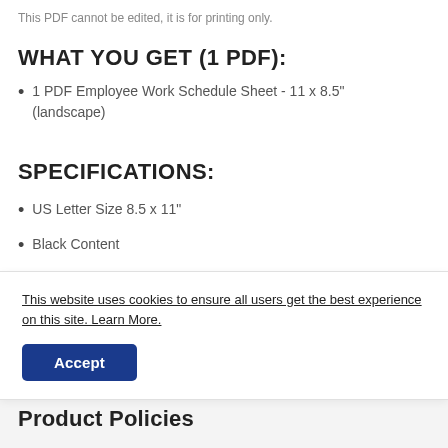This PDF cannot be edited, it is for printing only.
WHAT YOU GET (1 PDF):
1 PDF Employee Work Schedule Sheet - 11 x 8.5" (landscape)
SPECIFICATIONS:
US Letter Size 8.5 x 11"
Black Content
This website uses cookies to ensure all users get the best experience on this site. Learn More.
Accept
Product Policies